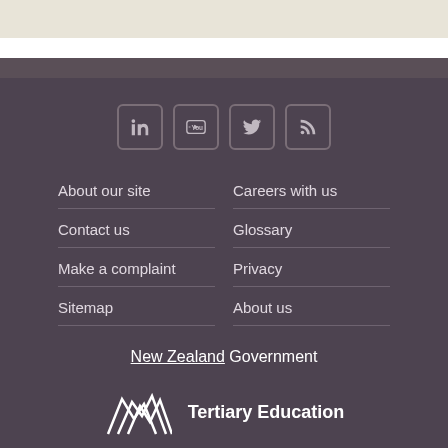[Figure (other): Social media icons: LinkedIn, YouTube, Twitter, RSS feed]
About our site
Careers with us
Contact us
Glossary
Make a complaint
Privacy
Sitemap
About us
[Figure (logo): New Zealand Government logo text with underline on 'New Zealand']
[Figure (logo): Tertiary Education Commission logo with stylized mountain/wave icon and text 'Tertiary Education']